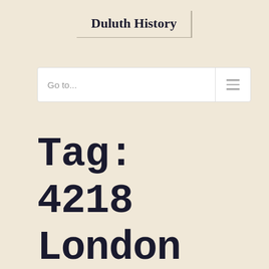Duluth History
Go to...
Tag: 4218 London Road